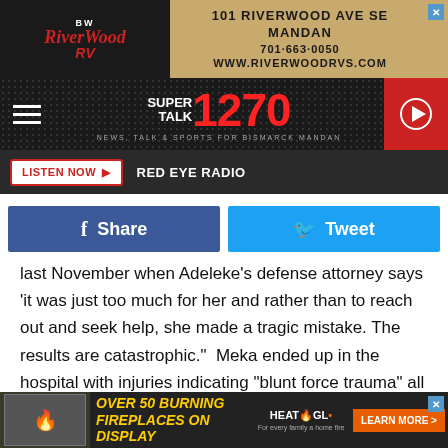[Figure (screenshot): RiverWood RV advertisement banner with logo and address: 101 Riverwood Ave SE Mandan, 701-663-0050, www.riverwoodrvs.com]
[Figure (logo): Super Talk 1270 radio station header with hamburger menu, logo, and play button]
LISTEN NOW   RED EYE RADIO
[Figure (infographic): Facebook Share button and Twitter Tweet button row]
last November when Adeleke's defense attorney says 'it was just too much for her and rather than to reach out and seek help, she made a tragic mistake. The results are catastrophic."  Meka ended up in the hospital with injuries indicating "blunt force trauma" all over her body. Police arrested Adeleke. This past Monday she pleaded guilty to murder and child abuse, she then found out her fate.
[Figure (screenshot): Bottom advertisement for Heat & Glo fireplaces: Over 50 Burning Fireplaces on Display, with Learn More button]